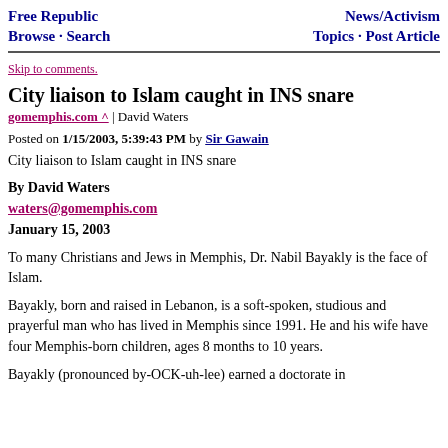Free Republic Browse · Search | News/Activism Topics · Post Article
Skip to comments.
City liaison to Islam caught in INS snare
gomemphis.com ^ | David Waters
Posted on 1/15/2003, 5:39:43 PM by Sir Gawain
City liaison to Islam caught in INS snare
By David Waters
waters@gomemphis.com
January 15, 2003
To many Christians and Jews in Memphis, Dr. Nabil Bayakly is the face of Islam.
Bayakly, born and raised in Lebanon, is a soft-spoken, studious and prayerful man who has lived in Memphis since 1991. He and his wife have four Memphis-born children, ages 8 months to 10 years.
Bayakly (pronounced by-OCK-uh-lee) earned a doctorate in